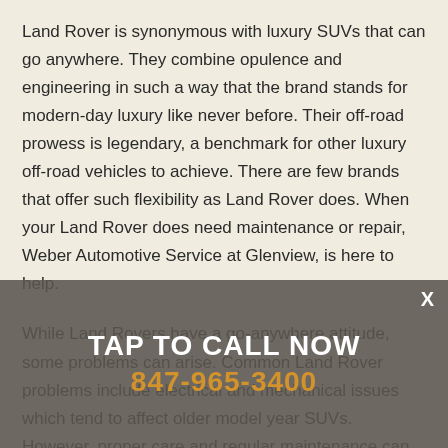Land Rover is synonymous with luxury SUVs that can go anywhere. They combine opulence and engineering in such a way that the brand stands for modern-day luxury like never before. Their off-road prowess is legendary, a benchmark for other luxury off-road vehicles to achieve. There are few brands that offer such flexibility as Land Rover does. When your Land Rover does need maintenance or repair, Weber Automotive Service at Glenview, is here to help.
While Land Rovers have a go-anywhere attitude, some problems can arise. Common Land Rover problems include electrical and mechanical issues which tend to affect older model year SUVs. However, proper care and regular maintenance can keep your Land Rover on the road for years to come.
[Figure (other): Call-to-action overlay banner with 'TAP TO CALL NOW' text and phone number 847-965-3400 in orange, on a semi-transparent dark background with an X close button]